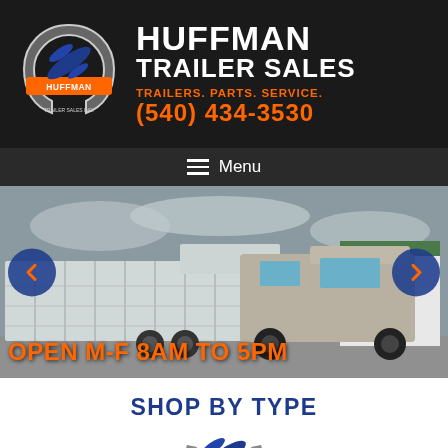[Figure (logo): Huffman Trailer Sales Inc. circular logo with horseshoe and eagle/bird graphic, blue and orange colors on dark background]
HUFFMAN TRAILER SALES
TRAILERS. PARTS. SERVICE.
(540) 434-3530
Menu
[Figure (photo): A silver/white truck towing a large aluminum livestock trailer in a parking lot with an overcast sky and a building in the background. Left and right navigation arrows overlay the image. Text reads: OPEN M-F 8AM TO 5PM]
SHOP BY TYPE
[Figure (logo): Partial bottom crop of the Huffman logo]